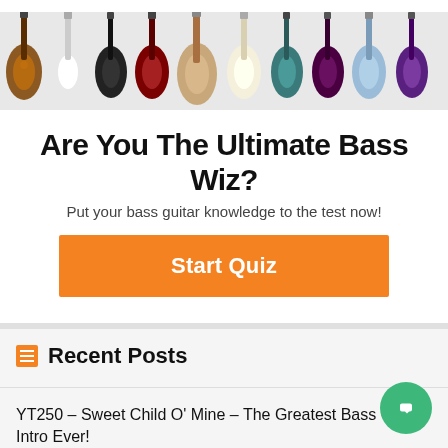[Figure (photo): Row of bass guitars in various colors (sunburst, white, black, red, natural, cream, teal, dark red, blue, purple) displayed horizontally as a banner]
Are You The Ultimate Bass Wiz?
Put your bass guitar knowledge to the test now!
[Figure (other): Orange 'Start Quiz' button]
Recent Posts
YT250 – Sweet Child O' Mine – The Greatest Bass Guitar Intro Ever!
YT249 – Superstition – How to FUNK Like A P